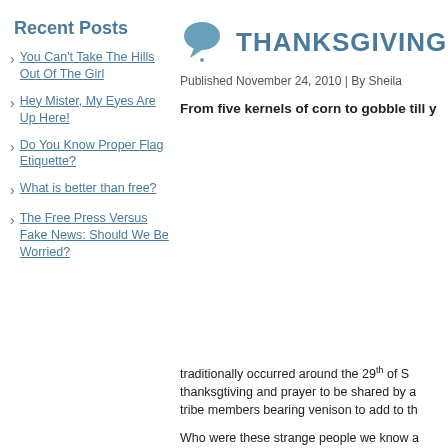THANKSGIVING TH
Published November 24, 2010 | By Sheila
From five kernels of corn to gobble till y
Recent Posts
You Can't Take The Hills Out Of The Girl
Hey Mister, My Eyes Are Up Here!
Do You Know Proper Flag Etiquette?
What is better than free?
The Free Press Versus Fake News: Should We Be Worried?
traditionally occurred around the 29th of S thanksgtiving and prayer to be shared by a tribe members bearing venison to add to th
Who were these strange people we know a strong, independent group of people seekir corrupt Catholic Church and Church of En religious persecution. There they were abl and their children were growing up withou freedom to establish the society they envis